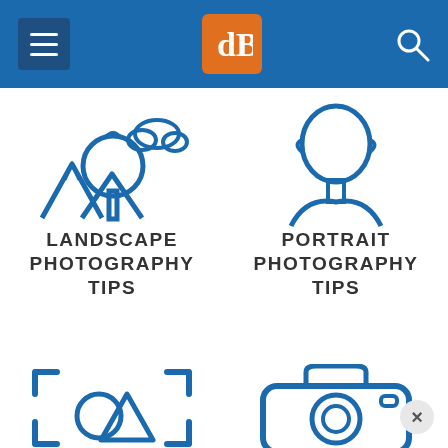[Figure (screenshot): Navigation bar with hamburger menu icon on left, dPS logo in orange center, search icon on right, on a blue background]
[Figure (illustration): Landscape photography icon: outline-style tree, mountains, and cloud in blue]
LANDSCAPE PHOTOGRAPHY TIPS
[Figure (illustration): Portrait photography icon: outline-style person/face in blue]
PORTRAIT PHOTOGRAPHY TIPS
[Figure (illustration): Composition/focus photography icon: circle and triangle inside a frame bracket, in blue]
[Figure (illustration): Camera icon in blue outline style]